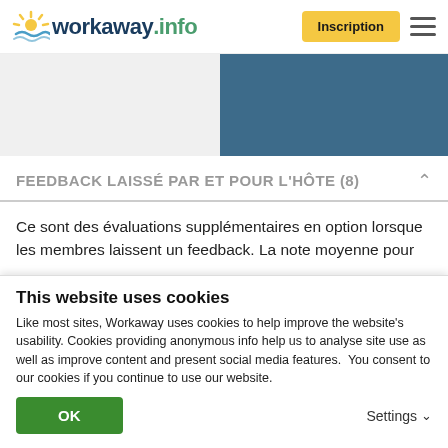workaway.info — Inscription
[Figure (screenshot): Two-panel image area: left panel light grey background, right panel dark steel blue background]
FEEDBACK LAISSÉ PAR ET POUR L'HÔTE (8)
Ce sont des évaluations supplémentaires en option lorsque les membres laissent un feedback. La note moyenne pour
This website uses cookies
Like most sites, Workaway uses cookies to help improve the website's usability. Cookies providing anonymous info help us to analyse site use as well as improve content and present social media features.  You consent to our cookies if you continue to use our website.
OK   Settings